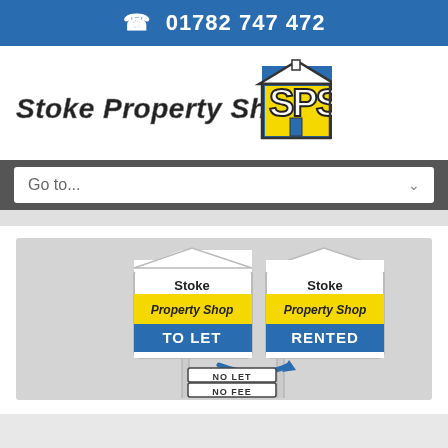01782 747 472
[Figure (logo): Stoke Property Shop logo with SPS badge in yellow and blue]
Go to...
[Figure (illustration): Two estate agent boards: 'Stoke Property Shop TO LET' and 'Stoke Property Shop RENTED' with arrow and text 'NO LET NO FEE']